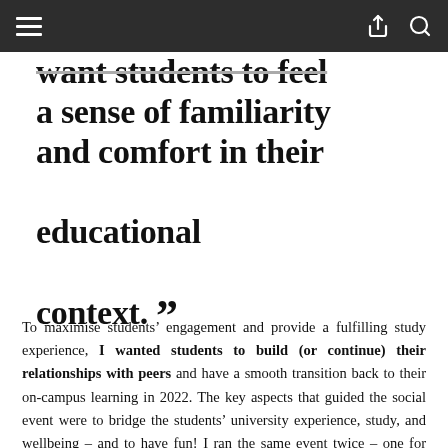[Navigation bar with hamburger menu, share icon, and search icon]
…want students to feel a sense of familiarity and comfort in their educational context. ””
To maximise students’ engagement and provide a fulfilling study experience, I wanted students to build (or continue) their relationships with peers and have a smooth transition back to their on-campus learning in 2022. The key aspects that guided the social event were to bridge the students’ university experience, study, and wellbeing – and to have fun! I ran the same event twice – one for Bachelor of Education (Early Childhood) and one for Master of Teaching (Early Childhood) students. I invited all years as well as recent graduate students. As Sydney was in lockdown for most of semester two, this meant